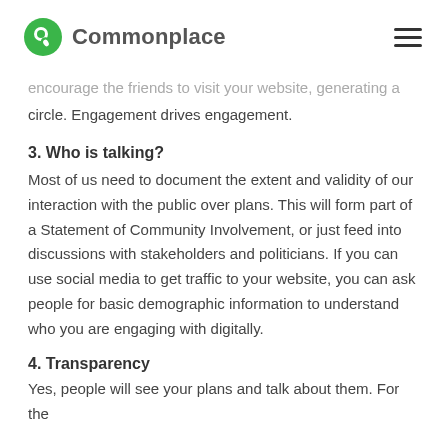Commonplace
encourage the friends to visit your website, generating a circle. Engagement drives engagement.
3. Who is talking?
Most of us need to document the extent and validity of our interaction with the public over plans. This will form part of a Statement of Community Involvement, or just feed into discussions with stakeholders and politicians. If you can use social media to get traffic to your website, you can ask people for basic demographic information to understand who you are engaging with digitally.
4. Transparency
Yes, people will see your plans and talk about them. For the